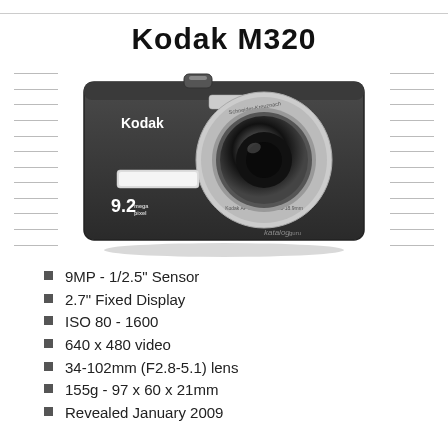Kodak M320
[Figure (photo): Front-facing photo of a black Kodak M320 digital camera showing the lens, Kodak branding, and 9.2 megapixel label]
9MP - 1/2.5" Sensor
2.7" Fixed Display
ISO 80 - 1600
640 x 480 video
34-102mm (F2.8-5.1) lens
155g - 97 x 60 x 21mm
Revealed January 2009